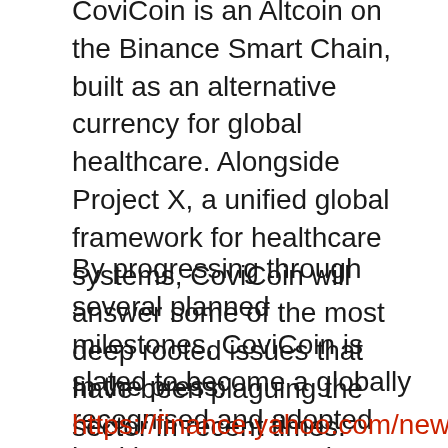CoviCoin is an Altcoin on the Binance Smart Chain, built as an alternative currency for global healthcare. Alongside Project X, a unified global framework for healthcare systems, CoviCoin will answer some of the most deep rooted issues that have been plaguing the sector in recent times.
By progressing through several planned milestones, CoviCoin is slated to become a globally recognised and adopted healthcare currency by 2024.
In the press: https://finance.yahoo.com/news/crypto-world-entry-healthcare-covicoin-112000099.html https://www.marketwatch.com/press-